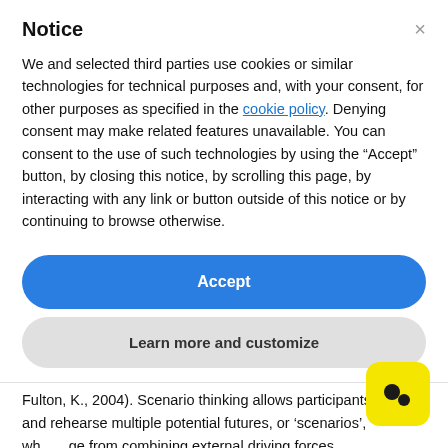Notice
We and selected third parties use cookies or similar technologies for technical purposes and, with your consent, for other purposes as specified in the cookie policy. Denying consent may make related features unavailable. You can consent to the use of such technologies by using the "Accept" button, by closing this notice, by scrolling this page, by interacting with any link or button outside of this notice or by continuing to browse otherwise.
Accept
Learn more and customize
Fulton, K., 2004). Scenario thinking allows participants to imagine and rehearse multiple potential futures, or 'scenarios', which emerge from combining external driving forces.